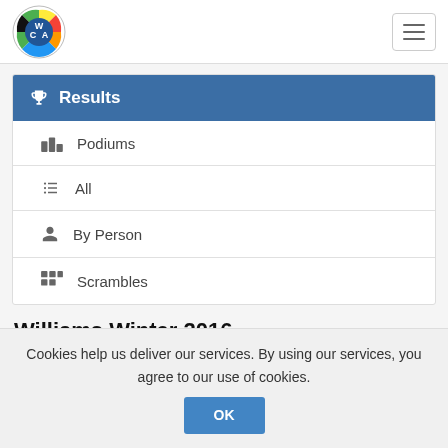[Figure (logo): WCA (World Cube Association) circular logo with colorful cube segments]
Results
Podiums
All
By Person
Scrambles
Williams Winter 2016
Cookies help us deliver our services. By using our services, you agree to our use of cookies.